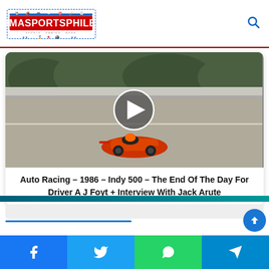IMASPORTSPHILE logo and search icon
[Figure (screenshot): Video thumbnail showing an orange Formula 1 racing car on a track with a play button overlay, from the 1986 Indy 500]
Auto Racing - 1986 - Indy 500 - The End Of The Day For Driver A J Foyt + Interview With Jack Arute